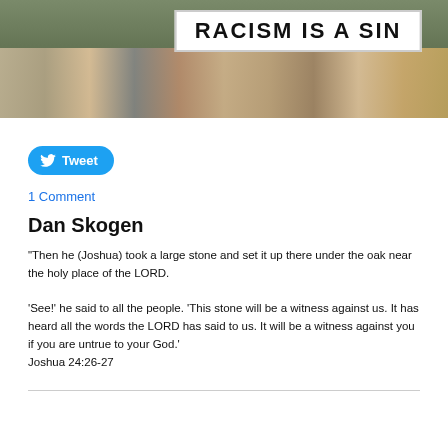[Figure (photo): Group of people outdoors holding a banner that reads 'RACISM IS A SIN']
Tweet
1 Comment
Dan Skogen
"Then he (Joshua) took a large stone and set it up there under the oak near the holy place of the LORD.

'See!' he said to all the people. 'This stone will be a witness against us. It has heard all the words the LORD has said to us. It will be a witness against you if you are untrue to your God.'
Joshua 24:26-27